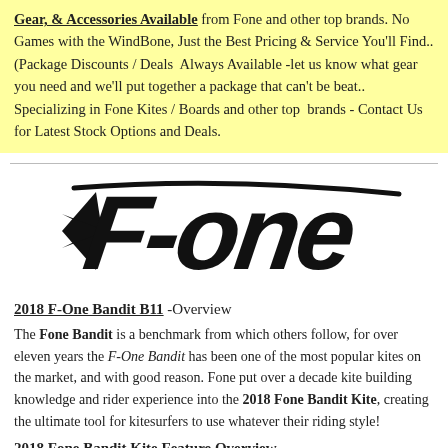Gear, & Accessories Available from Fone and other top brands. No Games with the WindBone, Just the Best Pricing & Service You'll Find.. (Package Discounts / Deals Always Available -let us know what gear you need and we'll put together a package that can't be beat.. Specializing in Fone Kites / Boards and other top brands - Contact Us for Latest Stock Options and Deals.
[Figure (logo): F-One brand logo in bold black stylized italic lettering]
2018 F-One Bandit B11 -Overview
The Fone Bandit is a benchmark from which others follow, for over eleven years the F-One Bandit has been one of the most popular kites on the market, and with good reason. Fone put over a decade kite building knowledge and rider experience into the 2018 Fone Bandit Kite, creating the ultimate tool for kitesurfers to use whatever their riding style!
2018 Fone Bandit Kite Feature Overview